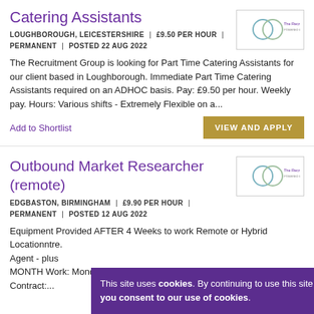Catering Assistants
LOUGHBOROUGH, LEICESTERSHIRE | £9.50 PER HOUR | PERMANENT | POSTED 22 AUG 2022
The Recruitment Group is looking for Part Time Catering Assistants for our client based in Loughborough. Immediate Part Time Catering Assistants required on an ADHOC basis. Pay: £9.50 per hour. Weekly pay. Hours: Various shifts - Extremely Flexible on a...
Add to Shortlist
Outbound Market Researcher (remote)
EDGBASTON, BIRMINGHAM | £9.90 PER HOUR | PERMANENT | POSTED 12 AUG 2022
Equipment Provided AFTER 4 Weeks to work Remote or Hybrid Location... Agent - ... plus MONTH... Work: Monday - Friday, 9:00am - 5:00pm. Contract:...
This site uses cookies. By continuing to use this site you consent to our use of cookies.